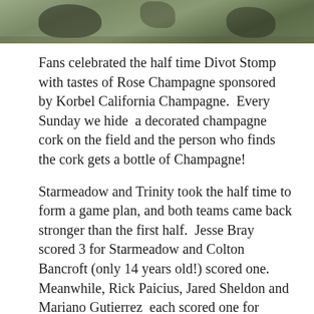[Figure (photo): Partial photo of polo players or equestrian activity on a grass field, cropped at top of page]
Fans celebrated the half time Divot Stomp with tastes of Rose Champagne sponsored by Korbel California Champagne.  Every Sunday we hide  a decorated champagne cork on the field and the person who finds the cork gets a bottle of Champagne!
Starmeadow and Trinity took the half time to form a game plan, and both teams came back stronger than the first half.  Jesse Bray scored 3 for Starmeadow and Colton Bancroft (only 14 years old!) scored one.  Meanwhile, Rick Paicius, Jared Sheldon and Mariano Gutierrez  each scored one for Trinity, bringing the game up to 7 to 6, Starmeadow in the lead.